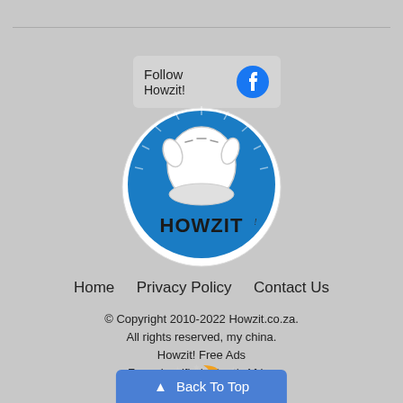[Figure (logo): Howzit logo – circular blue badge with cartoon gloved hand making shaka sign and 'HOWZIT' lettering]
Follow Howzit!
[Figure (logo): Facebook circular icon – blue circle with white 'f']
Home   Privacy Policy   Contact Us
© Copyright 2010-2022 Howzit.co.za.
All rights reserved, my china.
Howzit! Free Ads
Free classifieds South Africa
[Figure (logo): Stays logo with stars and crescent moon]
Back To Top